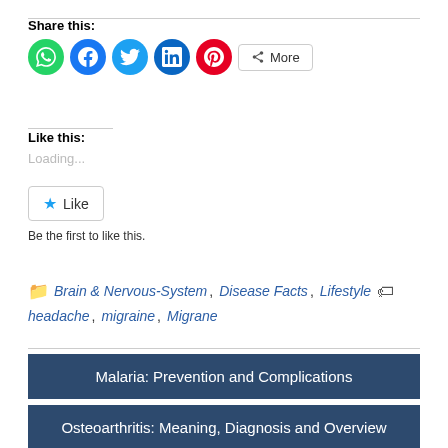Share this:
[Figure (infographic): Social share buttons: WhatsApp (green), Facebook (blue), Twitter (light blue), LinkedIn (dark blue), Pinterest (red), and a More button]
Like this:
Loading...
[Figure (other): Like button with star icon]
Be the first to like this.
Brain & Nervous-System, Disease Facts, Lifestyle headache, migraine, Migrane
Malaria: Prevention and Complications
Osteoarthritis: Meaning, Diagnosis and Overview